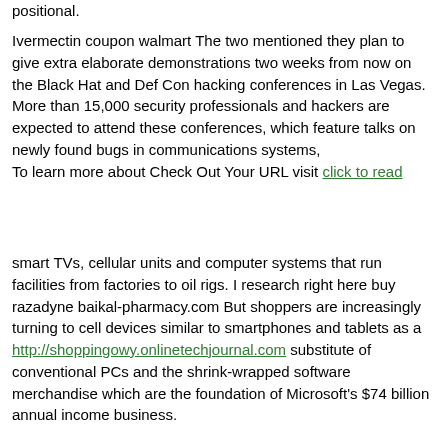positional.
Ivermectin coupon walmart The two mentioned they plan to give extra elaborate demonstrations two weeks from now on the Black Hat and Def Con hacking conferences in Las Vegas. More than 15,000 security professionals and hackers are expected to attend these conferences, which feature talks on newly found bugs in communications systems,
To learn more about Check Out Your URL visit click to read
smart TVs, cellular units and computer systems that run facilities from factories to oil rigs. I research right here buy razadyne baikal-pharmacy.com But shoppers are increasingly turning to cell devices similar to smartphones and tablets as a http://shoppingowy.onlinetechjournal.com substitute of conventional PCs and the shrink-wrapped software merchandise which are the foundation of Microsoft's $74 billion annual income business.